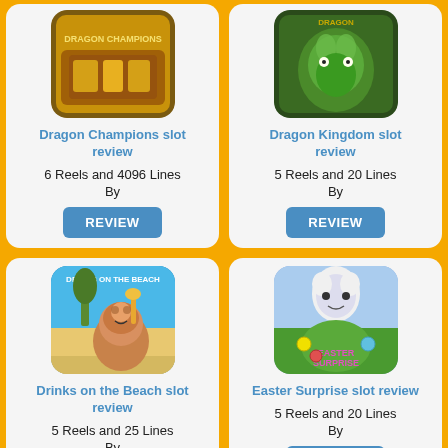[Figure (screenshot): Dragon Champions slot game thumbnail]
Dragon Champions slot review
6 Reels and 4096 Lines
By
REVIEW
[Figure (screenshot): Dragon Kingdom slot game thumbnail]
Dragon Kingdom slot review
5 Reels and 20 Lines
By
REVIEW
[Figure (screenshot): Drinks on the Beach slot game thumbnail]
Drinks on the Beach slot review
5 Reels and 25 Lines
By
REVIEW
[Figure (screenshot): Easter Surprise slot game thumbnail]
Easter Surprise slot review
5 Reels and 20 Lines
By
REVIEW
[Figure (screenshot): Egyptian themed slot game thumbnail (partial)]
[Figure (screenshot): Eliminators slot game thumbnail (partial)]